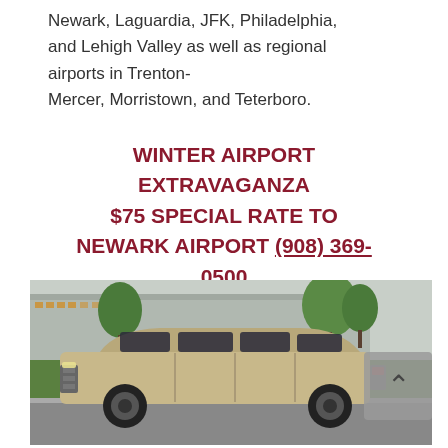Newark, Laguardia, JFK, Philadelphia, and Lehigh Valley as well as regional airports in Trenton-Mercer, Morristown, and Teterboro.
WINTER AIRPORT EXTRAVAGANZA $75 SPECIAL RATE TO NEWARK AIRPORT (908) 369-0500
[Figure (photo): A silver/champagne colored large GMC SUV (Yukon XL or Suburban) parked in front of what appears to be an airport or commercial building with green trees in the background.]